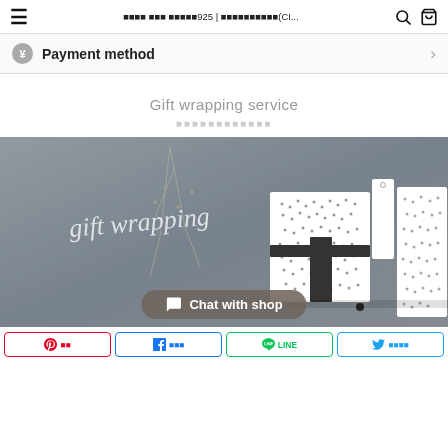≡  ■■■■ ■■■ ■■■■■925 | ■■■■■■■■■■(CI...  🔍  🛒
¥  Payment method  >
Gift wrapping service
■■■■■■■■■■■■
[Figure (photo): Gift wrapping service banner image showing wrapped boxes and packaging on a grey textured background with cursive 'gift wrapping' text overlay in white]
Chat with shop
■■  ■■■  LINE  ■■■■